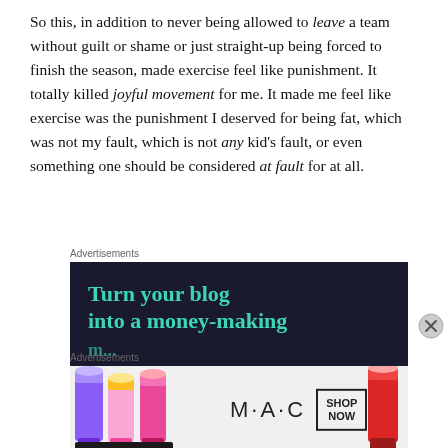So this, in addition to never being allowed to leave a team without guilt or shame or just straight-up being forced to finish the season, made exercise feel like punishment. It totally killed joyful movement for me. It made me feel like exercise was the punishment I deserved for being fat, which was not my fault, which is not any kid's fault, or even something one should be considered at fault for at all.
[Figure (other): Advertisement banner with dark navy background showing text 'Turn your blog into a money-making' in teal color, partially cut off]
[Figure (other): MAC cosmetics advertisement showing colorful lipsticks on left and right, MAC logo in center with 'SHOP NOW' box]